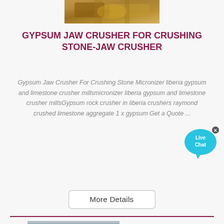[Figure (photo): Top portion of a gypsum jaw crusher machine in a quarry setting, partially visible at the top of the page]
GYPSUM JAW CRUSHER FOR CRUSHING STONE-JAW CRUSHER
Gypsum Jaw Crusher For Crushing Stone Micronizer liberia gypsum and limestone crusher millsmicronizer liberia gypsum and limestone crusher millsGypsum rock crusher in liberia crushers raymond crushed limestone aggregate 1 x gypsum Get a Quote ...
[Figure (illustration): Live Chat button - a circular blue chat bubble with 'Live Chat' text and a close X button]
[Figure (screenshot): More Details button - white rounded rectangle button with grey border]
[Figure (photo): Bottom industrial quarry crushing plant with conveyor belts against a hillside backdrop]